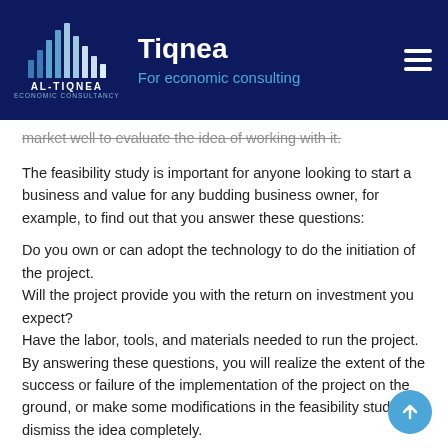Tiqnea — For economic consulting
market well to evaluate the idea of working with it.
The feasibility study is important for anyone looking to start a business and value for any budding business owner, for example, to find out that you answer these questions:
Do you own or can adopt the technology to do the initiation of the project.
Will the project provide you with the return on investment you expect?
Have the labor, tools, and materials needed to run the project.
By answering these questions, you will realize the extent of the success or failure of the implementation of the project on the ground, or make some modifications in the feasibility study, or dismiss the idea completely.